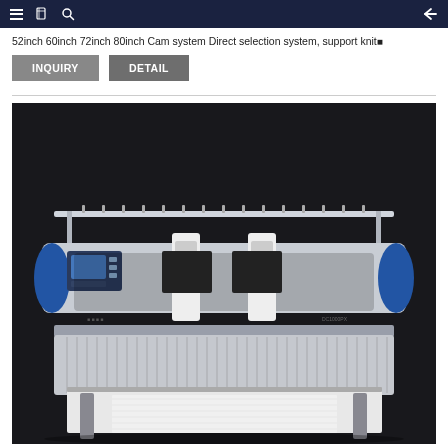Navigation bar with menu, book, search icons and back arrow
52inch 60inch 72inch 80inch Cam system Direct selection system, support knit
INQUIRY   DETAIL
[Figure (photo): Industrial flat knitting machine photographed against a dark background. The machine is wide and horizontally oriented, with a blue-capped body, a control panel on the left side, yarn carriers/feeders on top rail, needle bed visible at the front bottom, and two white vertical cam carriages in the center.]